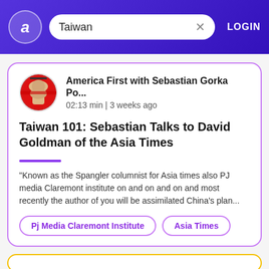Taiwan — LOGIN
[Figure (screenshot): Circular logo with stylized letter 'a' on purple gradient header]
America First with Sebastian Gorka Po... 02:13 min | 3 weeks ago
Taiwan 101: Sebastian Talks to David Goldman of the Asia Times
"Known as the Spangler columnist for Asia times also PJ media Claremont institute on and on and on and most recently the author of you will be assimilated China's plan...
Pj Media Claremont Institute
Asia Times